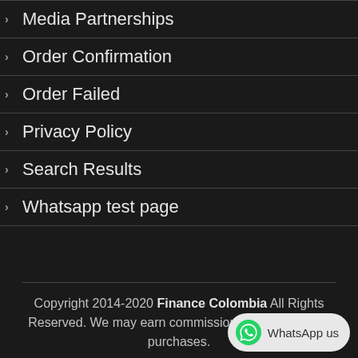Media Partnerships
Order Confirmation
Order Failed
Privacy Policy
Search Results
Whatsapp test page
Copyright 2014-2020 Finance Colombia All Rights Reserved. We may earn commissions from qualifying purchases.